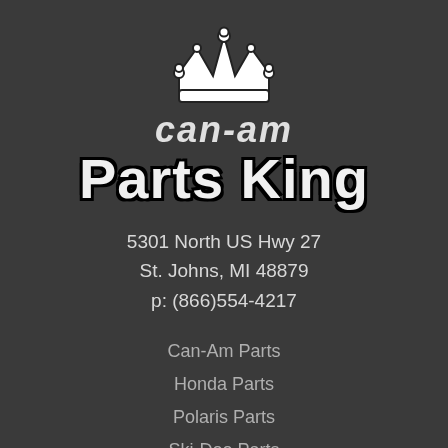[Figure (logo): Crown icon logo for Can-Am Parts King]
can-am Parts King
5301 North US Hwy 27
St. Johns, MI 48879
p: (866)554-4217
Can-Am Parts
Honda Parts
Polaris Parts
Ski-Doo Parts